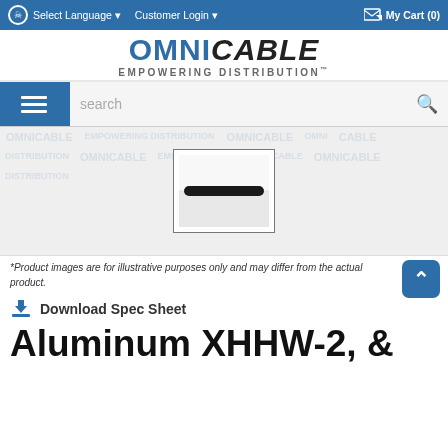Select Language  Customer Login  My Cart (0)
[Figure (logo): OmniCable logo with text EMPOWERING DISTRIBUTION]
[Figure (screenshot): Search bar with menu button and search field]
[Figure (photo): Product thumbnail image of a cable cross-section in a box, surrounded by OmniCable watermark]
*Product images are for illustrative purposes only and may differ from the actual product.
Download Spec Sheet
Aluminum XHHW-2, &